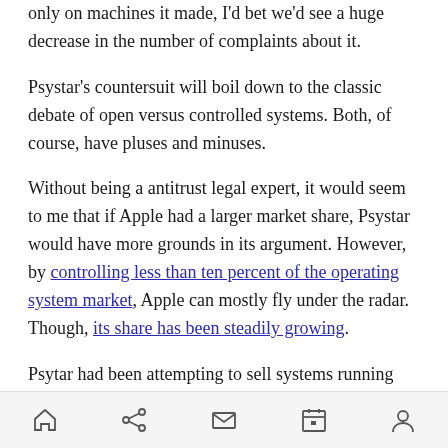only on machines it made, I'd bet we'd see a huge decrease in the number of complaints about it.
Psystar's countersuit will boil down to the classic debate of open versus controlled systems. Both, of course, have pluses and minuses.
Without being a antitrust legal expert, it would seem to me that if Apple had a larger market share, Psystar would have more grounds in its argument. However, by controlling less than ten percent of the operating system market, Apple can mostly fly under the radar. Though, its share has been steadily growing.
Psytar had been attempting to sell systems running OS X for around $500. Apple has a system
home share mail calendar person